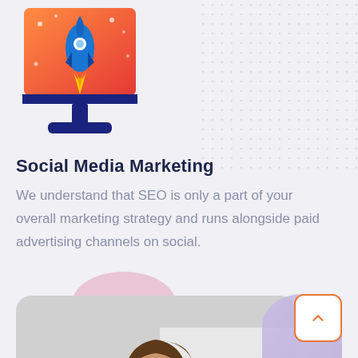[Figure (illustration): A rocket launching from a computer monitor screen, with orange/red flame gradient background and blue monitor stand. Digital marketing illustration.]
Social Media Marketing
We understand that SEO is only a part of your overall marketing strategy and runs alongside paid advertising channels on social.
[Figure (photo): A bearded man with undercut hairstyle wearing a white shirt and red tie, looking down, photographed from above, working at a desk. Gray rounded-corner card with pink accent circle above.]